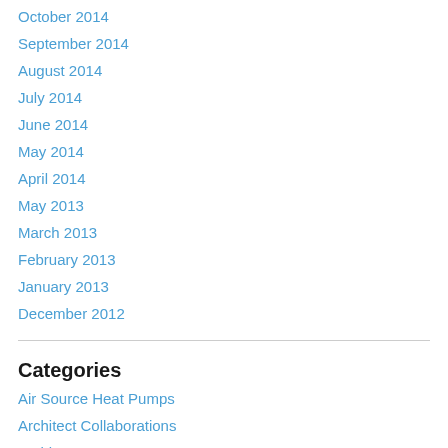October 2014
September 2014
August 2014
July 2014
June 2014
May 2014
April 2014
May 2013
March 2013
February 2013
January 2013
December 2012
Categories
Air Source Heat Pumps
Architect Collaborations
Architects
ASHP